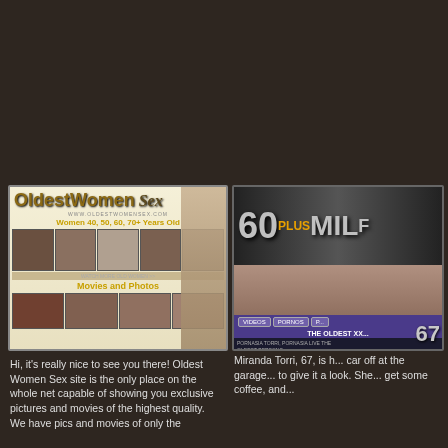[Figure (screenshot): OldestWomenSex website thumbnail showing women 40, 50, 60, 70+ years old with movies and photos]
Hi, it's really nice to see you there! Oldest Women Sex site is the only place on the whole net capable of showing you exclusive pictures and movies of the highest quality. We have pics and movies of only the
[Figure (screenshot): 60 Plus MILF website thumbnail showing the oldest XX content]
Miranda Torri, 67, is h... car off at the garage... to give it a look. She... get some coffee, and...